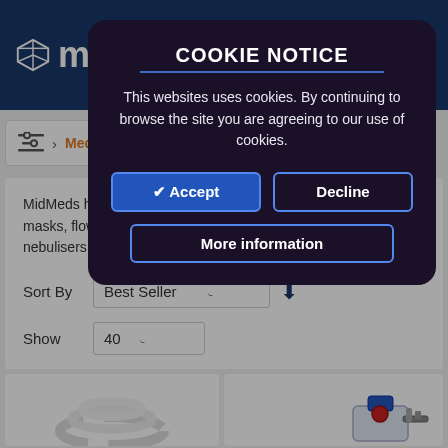midme (MidMeds logo and header)
Medical [breadcrumb link]
MidMeds has a far... gas products. Items range from masks, flow meters, inhalers, screeners, regulators and nebulisers.
Sort By  Best Seller
Show  40
[Figure (screenshot): Product image (white tubing/coil item)]
[Figure (screenshot): Product image with -13% OFF badge showing medical gas regulator/nebuliser device]
COOKIE NOTICE
This websites uses cookies. By continuing to browse the site you are agreeing to our use of cookies.
✔ Accept   Decline   More information